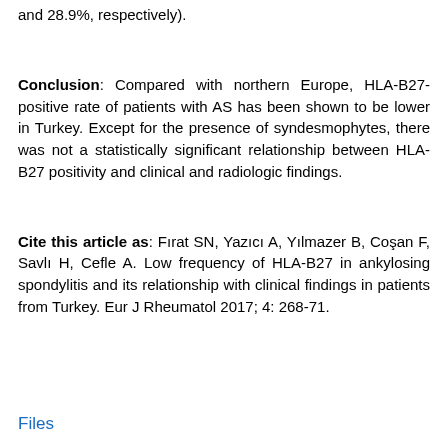negative group; however, the difference was not significant (30.2% and 28.9%, respectively).
Conclusion: Compared with northern Europe, HLA-B27-positive rate of patients with AS has been shown to be lower in Turkey. Except for the presence of syndesmophytes, there was not a statistically significant relationship between HLA-B27 positivity and clinical and radiologic findings.
Cite this article as: Fırat SN, Yazıcı A, Yılmazer B, Coşan F, Savlı H, Cefle A. Low frequency of HLA-B27 in ankylosing spondylitis and its relationship with clinical findings in patients from Turkey. Eur J Rheumatol 2017; 4: 268-71.
Files